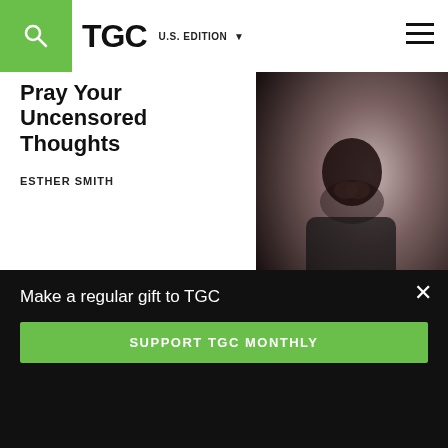TGC U.S. EDITION
Pray Your Uncensored Thoughts
ESTHER SMITH
[Figure (photo): Person with hands clasped in prayer, viewed from above, wearing dark clothing]
PODCASTS
[Figure (screenshot): Dark podcast card thumbnail]
Make a regular gift to TGC
SUPPORT TGC MONTHLY